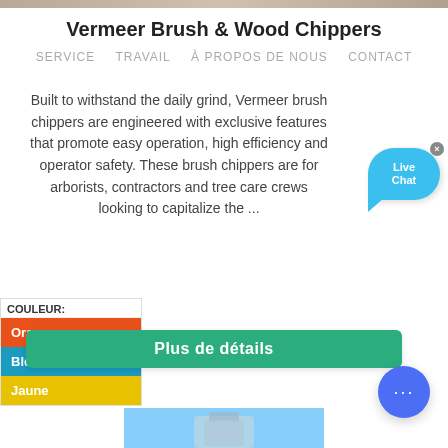[Figure (photo): Top partial image strip of equipment/machinery]
Vermeer Brush & Wood Chippers
SERVICE   TRAVAIL   À PROPOS DE NOUS   CONTACT
Built to withstand the daily grind, Vermeer brush chippers are engineered with exclusive features that promote easy operation, high efficiency and operator safety. These brush chippers are for arborists, contractors and tree care crews looking to capitalize the ...
[Figure (illustration): Live Chat speech bubble widget in blue]
COULEUR:
Orange
Bleu
Jaune
Plus de détails
[Figure (illustration): Blue circular chat button with three dots]
[Figure (photo): Bottom partial product/equipment photo]